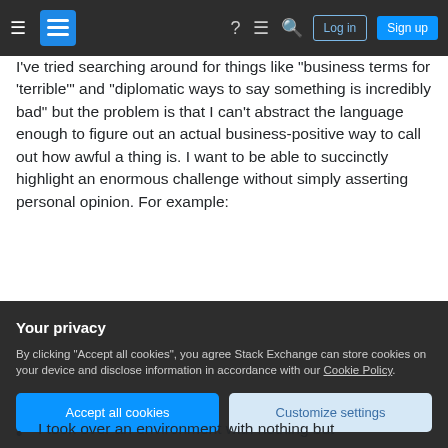Stack Exchange navigation bar with Log in and Sign up buttons
I've tried searching around for things like "business terms for 'terrible'" and "diplomatic ways to say something is incredibly bad" but the problem is that I can't abstract the language enough to figure out an actual business-positive way to call out how awful a thing is. I want to be able to succinctly highlight an enormous challenge without simply asserting personal opinion. For example:
"The environment I took over was so poorly-assembled and mis-managed that I was left with no option but to restructure the entire
I took over an environment with nothing but
Your privacy
By clicking "Accept all cookies", you agree Stack Exchange can store cookies on your device and disclose information in accordance with our Cookie Policy.
Accept all cookies   Customize settings